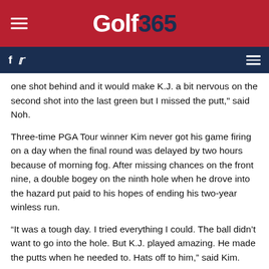Golf 365
one shot behind and it would make K.J. a bit nervous on the second shot into the last green but I missed the putt," said Noh.
Three-time PGA Tour winner Kim never got his game firing on a day when the final round was delayed by two hours because of morning fog. After missing chances on the front nine, a double bogey on the ninth hole when he drove into the hazard put paid to his hopes of ending his two-year winless run.
“It was a tough day. I tried everything I could. The ball didn’t want to go into the hole. But K.J. played amazing. He made the putts when he needed to. Hats off to him,” said Kim.
ADVERTISEMENT
[Figure (photo): Advertisement banner showing a building rooftop with navigation arrows]